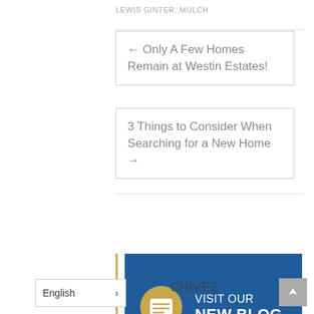LEWIS GINTER, MULCH
← Only A Few Homes Remain at Westin Estates!
3 Things to Consider When Searching for a New Home →
[Figure (infographic): Blue banner with gold circle icon containing a chat bubble, text reads VISIT OUR NEW BLOG]
English
CHIVES